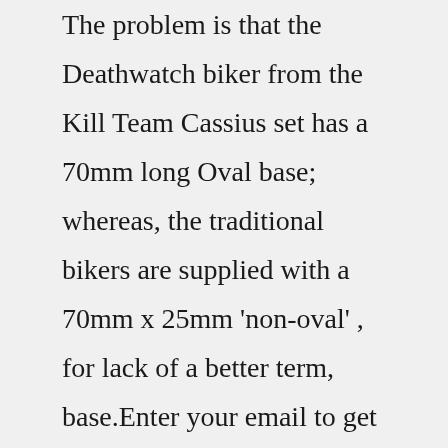The problem is that the Deathwatch biker from the Kill Team Cassius set has a 70mm long Oval base; whereas, the traditional bikers are supplied with a 70mm x 25mm 'non-oval' , for lack of a better term, base.Enter your email to get the very latest - news, promotions, hobby tips and more from Games Workshop. You can unsubscribe at any time. By subscribing you confirm that you are over the age of 13 or have consent from your parent or guardian